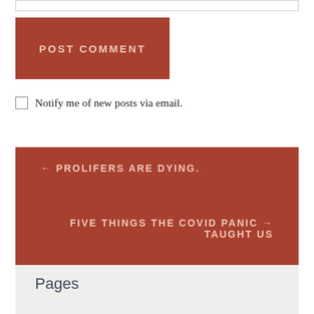[Figure (other): Partial input/text field visible at top]
POST COMMENT
Notify me of new posts via email.
← PROLIFERS ARE DYING.
FIVE THINGS THE COVID PANIC TAUGHT US →
Pages